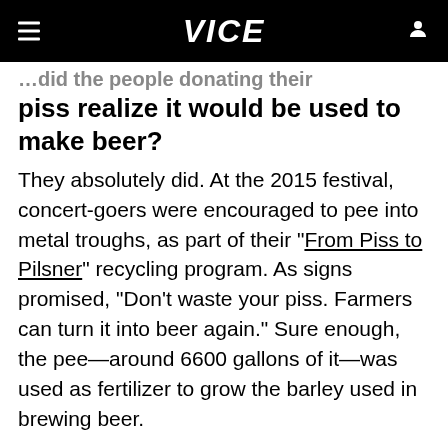VICE
...did the people donating their piss realize it would be used to make beer?
They absolutely did. At the 2015 festival, concert-goers were encouraged to pee into metal troughs, as part of their "From Piss to Pilsner" recycling program. As signs promised, "Don't waste your piss. Farmers can turn it into beer again." Sure enough, the pee—around 6600 gallons of it—was used as fertilizer to grow the barley used in brewing beer.
ADVERTISEMENT
[Figure (other): Yellow advertisement banner with text WATCH NOW]